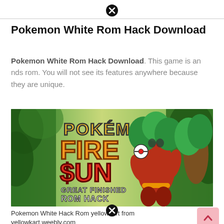Pokemon White Rom Hack Download
Pokemon White Rom Hack Download. This game is an nds rom. You will not see its features anywhere because they are unique.
[Figure (illustration): Pokemon Fire Sun Great Finished Rom Hack game cover art showing the title in colorful letters with a Pokemon character (Incineroar style) in a forest setting]
Pokemon White Hack Rom yellowkart from yellowkart.weebly.com
Pokemon vintage white version june 3 2021 cheat code. Pokemon rom hacks above are for game boy advance only. you can play them with gba. If you